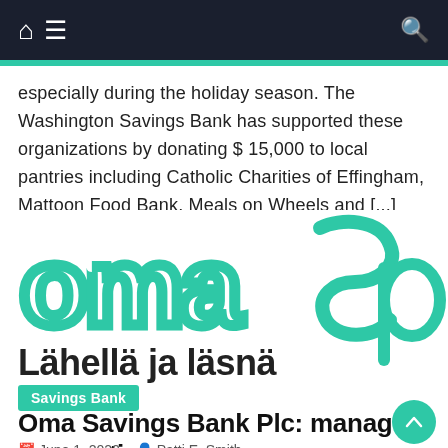Navigation bar with home, menu, and search icons
especially during the holiday season. The Washington Savings Bank has supported these organizations by donating $ 15,000 to local pantries including Catholic Charities of Effingham, Mattoon Food Bank, Meals on Wheels and [...]
[Figure (logo): Oma Savings Bank logo in green with text 'Lähellä ja läsnä' below]
Savings Bank
Oma Savings Bank Plc: manager transactions
June 1, 2022   Patti E. Smith